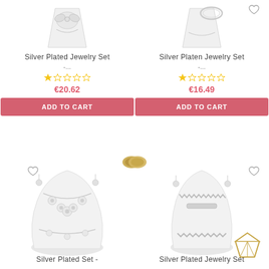[Figure (photo): Silver plated jewelry set on white display stand, top left product]
Silver Plated Jewelry Set
-...
[Figure (other): Star rating 1 out of 5 stars]
€20.62
ADD TO CART
[Figure (photo): Silver platen jewelry set on white display stand, top right product]
Silver Platen Jewelry Set
-...
[Figure (other): Star rating 1 out of 5 stars]
€16.49
ADD TO CART
[Figure (photo): Gold ring icon in the center of the page]
[Figure (photo): Silver flower necklace and earring set on white display bust, bottom left product]
Silver Plated Set -
[Figure (photo): Silver necklace set on white display bust, bottom right product]
Silver Plated Jewelry Set
[Figure (illustration): Diamond gem icon, gold outline, bottom right corner]